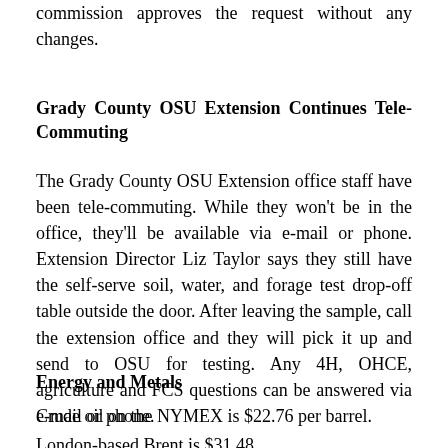commission approves the request without any changes.
Grady County OSU Extension Continues Tele-Commuting
The Grady County OSU Extension office staff have been tele-commuting. While they won't be in the office, they'll be available via e-mail or phone. Extension Director Liz Taylor says they still have the self-serve soil, water, and forage test drop-off table outside the door. After leaving the sample, call the extension office and they will pick it up and send to OSU for testing. Any 4H, OHCE, agriculture and FCS questions can be answered via e-mail or phone.
Energy and Metals
Crude oil on the NYMEX is $22.76 per barrel.
London-based Brent is $31.48